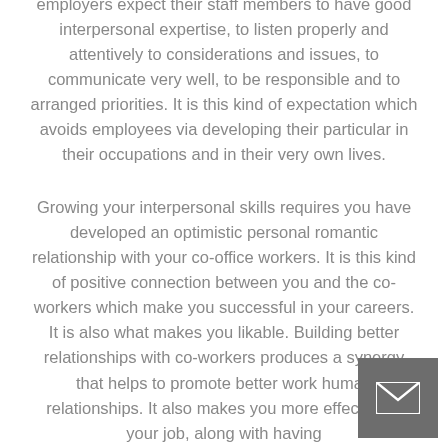employers expect their staff members to have good interpersonal expertise, to listen properly and attentively to considerations and issues, to communicate very well, to be responsible and to arranged priorities. It is this kind of expectation which avoids employees via developing their particular in their occupations and in their very own lives.
Growing your interpersonal skills requires you have developed an optimistic personal romantic relationship with your co-office workers. It is this kind of positive connection between you and the co-workers which make you successful in your careers. It is also what makes you likable. Building better relationships with co-workers produces a synergy that helps to promote better work human relationships. It also makes you more effective in your job, along with having